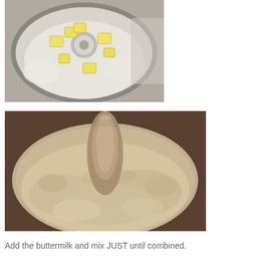[Figure (photo): Top-down view of a food processor bowl containing white flour and cubed pieces of yellow butter, with the processor blade visible in the center.]
[Figure (photo): Close-up of a food processor bowl containing a mix of flour and butter that has been processed to a crumbly texture, with the blade shaft visible in the center.]
Add the buttermilk and mix JUST until combined.